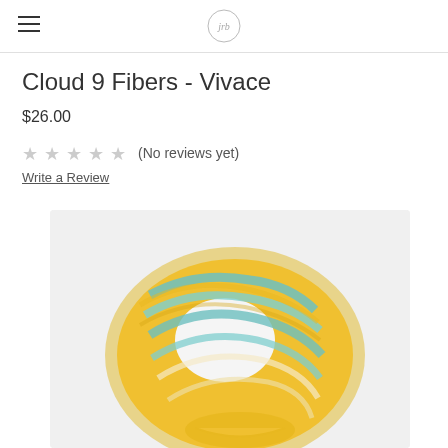JRB (logo)
Cloud 9 Fibers - Vivace
$26.00
★★★★★ (No reviews yet)
Write a Review
[Figure (photo): A skein of hand-dyed yarn in yellow, teal/aqua, and cream colors, photographed against a white background.]